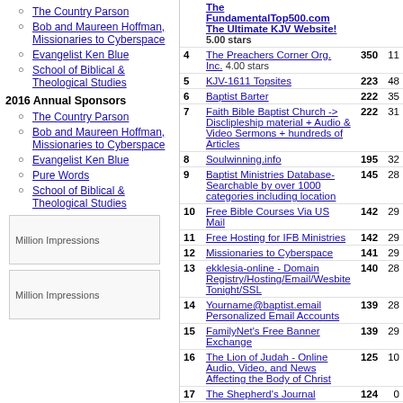The Country Parson
Bob and Maureen Hoffman, Missionaries to Cyberspace
Evangelist Ken Blue
School of Biblical & Theological Studies
2016 Annual Sponsors
The Country Parson
Bob and Maureen Hoffman, Missionaries to Cyberspace
Evangelist Ken Blue
Pure Words
School of Biblical & Theological Studies
[Figure (other): Million Impressions banner ad placeholder]
[Figure (other): Million Impressions banner ad placeholder]
| # | Site | In | Out |
| --- | --- | --- | --- |
|  | The FundamentalTop500.com The Ultimate KJV Website! 5.00 stars |  |  |
| 4 | The Preachers Corner Org. Inc. 4.00 stars | 350 | 11 |
| 5 | KJV-1611 Topsites | 223 | 48 |
| 6 | Baptist Barter | 222 | 35 |
| 7 | Faith Bible Baptist Church -> Disclipleship material + Audio & Video Sermons + hundreds of Articles | 222 | 31 |
| 8 | Soulwinning.info | 195 | 32 |
| 9 | Baptist Ministries Database- Searchable by over 1000 categories including location | 145 | 28 |
| 10 | Free Bible Courses Via US Mail | 142 | 29 |
| 11 | Free Hosting for IFB Ministries | 142 | 29 |
| 12 | Missionaries to Cyberspace | 141 | 29 |
| 13 | ekklesia-online - Domain Registry/Hosting/Email/Wesbite Tonight/SSL | 140 | 28 |
| 14 | Yourname@baptist.email Personalized Email Accounts | 139 | 28 |
| 15 | FamilyNet's Free Banner Exchange | 139 | 29 |
| 16 | The Lion of Judah - Online Audio, Video, and News Affecting the Body of Christ | 125 | 10 |
| 17 | The Shepherd's Journal | 124 | 0 |
| 18 | College of The Open Bible | 120 | 31 |
| 19 | Bible Truth | 106 | 38 |
| 20 | Free Bulletin Insert, Sunday | 102 | 19 |